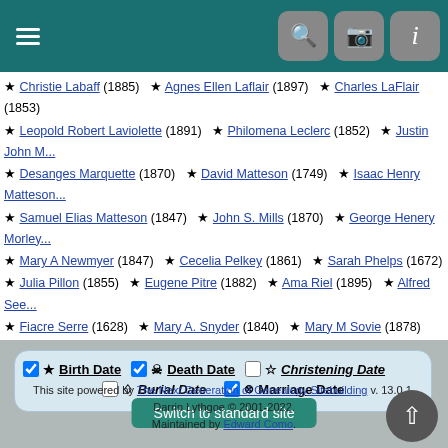[Figure (screenshot): Mobile genealogy website screenshot showing navigation bar with hamburger menu and icons, a list of names with birth/death years, filter checkboxes for date types, a switch to standard site button, and footer text.]
★ Christie Labaff (1885)  ★ Agnes Ellen Laflair (1897)  ★ Charles LaFlair (1853)
★ Leopold Robert Laviolette (1891)  ★ Philomena Leclerc (1852)  ★ Justin John M...
★ Desanges Marquette (1870)  ★ David Matteson (1749)  ★ Isaac Henry Matteson...
★ Samuel Elias Matteson (1847)  ★ John S. Mills (1870)  ★ George Henery Morley...
★ Mary A Newmyer (1847)  ★ Cecelia Pelkey (1861)  ★ Sarah Phelps (1672)
★ Julia Pillon (1855)  ★ Eugene Pitre (1882)  ★ Ama Riel (1895)  ★ Alfred See...
★ Fiacre Serre (1628)  ★ Mary A. Snyder (1840)  ★ Mary M Sovie (1878)
★ Robert M Stubinger (1892)  ★ Jennie S. Thayer (1878)  ★ John Truman Thomps...
★ Jenna Tyrell (1880)  ★ Vincent Vachon (1600)  ★ Edith M. Walling (1882)
★ Hazel May Whalen (1888)  ★ Mary Cay Williams (1960)  ⊗ Jacques Boyer / Mar...
⊗ Jeremiah Burns / Elizabeth W... (1874)  ⊗ Joseph King / Francis Recore (1968)
⊗ Richard LaFlair / Ida Claris... (1886)  ⊗ Simon Newcomb / Hannah Stove... (1821)
☑ ★ Birth Date  ☑ 🎭 Death Date  ☐ ☆ Christening Date  ☐ ◇ Burial Date  ☑ ⊗ Marriage Date
Switch to standard site
This site powered by The Next Generation of Genealogy Sitebuilding v. 13.0.1, Darrin Lythgoe © 2001-2022. Maintained by Edward Como.